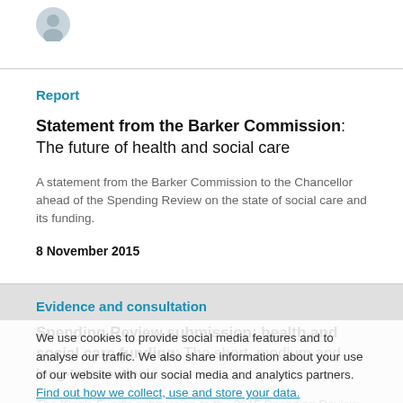[Figure (photo): Small circular avatar/profile photo of a person]
Report
Statement from the Barker Commission: The future of health and social care
A statement from the Barker Commission to the Chancellor ahead of the Spending Review on the state of social care and its funding.
8 November 2015
Evidence and consultation
Spending Review submission: health and social care funding: The short, medium and long-term outlook
The King's Fund's submission to the 2015 Spending Review argues that if the government is serious in its commitment
We use cookies to provide social media features and to analyse our traffic. We also share information about your use of our website with our social media and analytics partners. Find out how we collect, use and store your data.